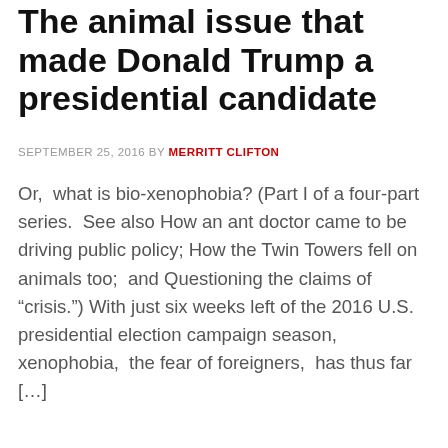The animal issue that made Donald Trump a presidential candidate
SEPTEMBER 25, 2016 BY MERRITT CLIFTON
Or,  what is bio-xenophobia? (Part I of a four-part series.  See also How an ant doctor came to be driving public policy; How the Twin Towers fell on animals too;  and Questioning the claims of “crisis.”) With just six weeks left of the 2016 U.S. presidential election campaign season,  xenophobia,  the fear of foreigners,  has thus far [...]
FILED UNDER: ADAPTIVE SPECIES, ADVOCACY, AFRICA, AGRICULTURE, ANIMAL ORGANIZATIONS, ANIMAL RIGHTS & WELFARE, ASIA/PACIFIC, AUSTRALIA & NEW ZEALAND,